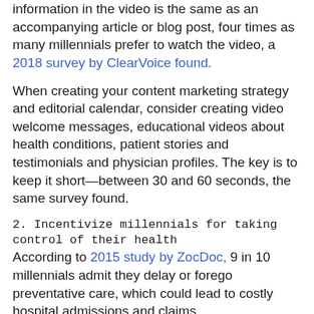information in the video is the same as an accompanying article or blog post, four times as many millennials prefer to watch the video, a 2018 survey by ClearVoice found.
When creating your content marketing strategy and editorial calendar, consider creating video welcome messages, educational videos about health conditions, patient stories and testimonials and physician profiles. The key is to keep it short—between 30 and 60 seconds, the same survey found.
2. Incentivize millennials for taking control of their health
According to 2015 study by ZocDoc, 9 in 10 millennials admit they delay or forego preventative care, which could lead to costly hospital admissions and claims.
Offering rewards such as gift cards, cash or premium discounts can be an effective way to get them into the doctor and keep them engaged in their health care.